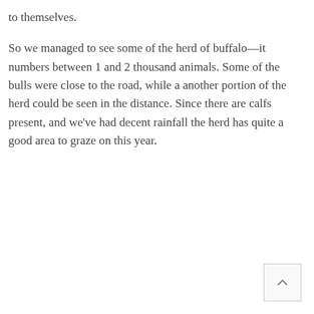to themselves.
So we managed to see some of the herd of buffalo—it numbers between 1 and 2 thousand animals. Some of the bulls were close to the road, while a another portion of the herd could be seen in the distance. Since there are calfs present, and we've had decent rainfall the herd has quite a good area to graze on this year.